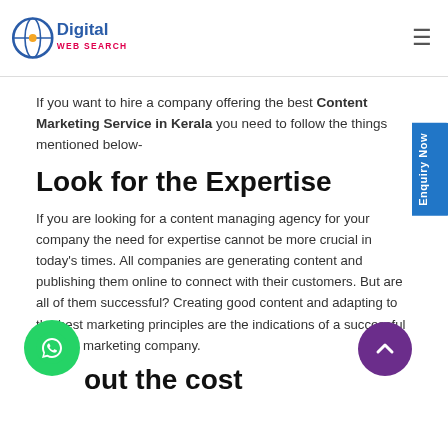Digital Web Search logo and navigation
If you want to hire a company offering the best Content Marketing Service in Kerala you need to follow the things mentioned below-
Look for the Expertise
If you are looking for a content managing agency for your company the need for expertise cannot be more crucial in today’s times. All companies are generating content and publishing them online to connect with their customers. But are all of them successful? Creating good content and adapting to the best marketing principles are the indications of a successful content marketing company.
Find out the cost